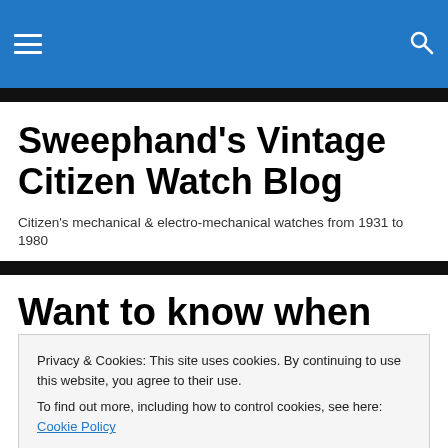Sweephand's Vintage Citizen Watch Blog
Sweephand's Vintage Citizen Watch Blog
Citizen's mechanical & electro-mechanical watches from 1931 to 1980
Want to know when your vintage Citizen watch was
Privacy & Cookies: This site uses cookies. By continuing to use this website, you agree to their use.
To find out more, including how to control cookies, see here: Cookie Policy